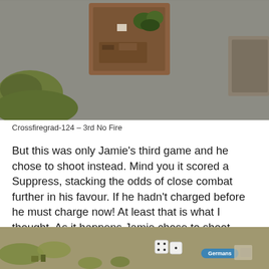[Figure (photo): Overhead view of a tabletop wargame showing miniature figures in terrain boxes on a grey mat, with green terrain pieces visible]
Crossfiregrad-124 – 3rd No Fire
But this was only Jamie's third game and he chose to shoot instead. Mind you it scored a Suppress, stacking the odds of close combat further in his favour. If he hadn't charged before he must charge now! At least that is what I thought. As it happens Jamie chose to shoot again, missed, and the No Fires were removed. I'm sure I heard Chris breath a sigh of relief.
[Figure (photo): Bottom partial view of tabletop wargame with miniature soldiers, dice, and terrain pieces; 'Germans' label visible in blue text]